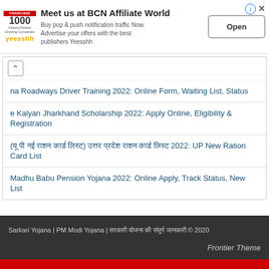[Figure (infographic): Advertisement banner: Yeesshh logo with 1000 fastest growing companies badge. Headline: Meet us at BCN Affiliate World. Body: Buy pop & push notification traffic Now. Advertise your offers with the best publishers Yeesshh. Open button on right. Info and close icons top right.]
na Roadways Driver Training 2022: Online Form, Waiting List, Status
e Kalyan Jharkhand Scholarship 2022: Apply Online, Eligibility & Registration
(यू पी नई राशन कार्ड लिस्ट) उत्तर प्रदेश राशन कार्ड लिस्ट 2022: UP New Ration Card List
Madhu Babu Pension Yojana 2022: Online Apply, Track Status, New List
Sarkari Yojana | PM Modi Yojana | सरकारी योजना की संपूर्ण जानकारी © 2020
Frontier Theme